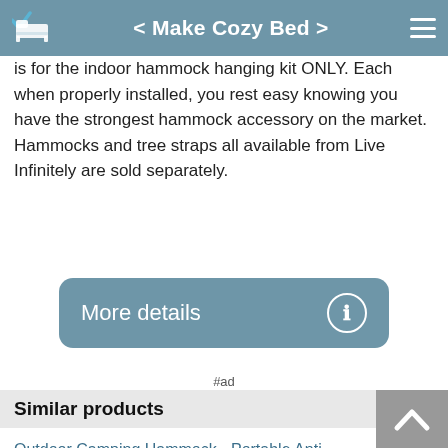< Make Cozy Bed >
is for the indoor hammock hanging kit ONLY. Each when properly installed, you rest easy knowing you have the strongest hammock accessory on the market. Hammocks and tree straps all available from Live Infinitely are sold separately.
More details
#ad
Similar products
ENO Eagles Nest Outfitters - Indoor Hanging Kit, Take Your Hammock Inside #ad
Outdoor Camping Hammock - Portable Anti-fade Nylon Single & Double Hammock with 2 Pieces 14...